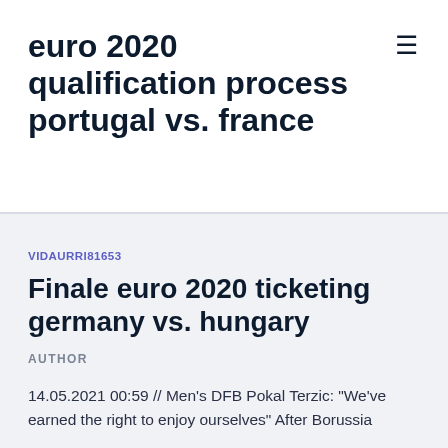euro 2020 qualification process portugal vs. france
VIDAURRI81653
Finale euro 2020 ticketing germany vs. hungary
AUTHOR
14.05.2021 00:59 // Men's DFB Pokal Terzic: "We've earned the right to enjoy ourselves" After Borussia